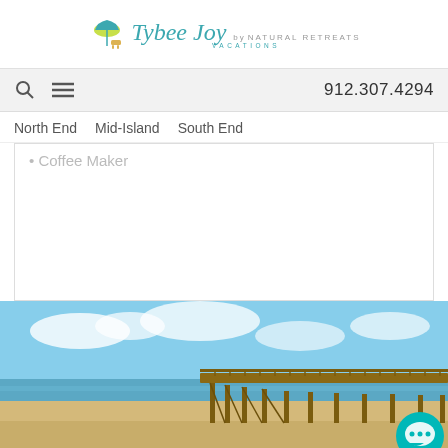Tybee Joy Vacations by Natural Retreats
912.307.4294
North End  Mid-Island  South End
Coffee Maker
[Figure (photo): A wooden beach pier extending over sandy beach with blue sky and ocean in the background]
Follow Us